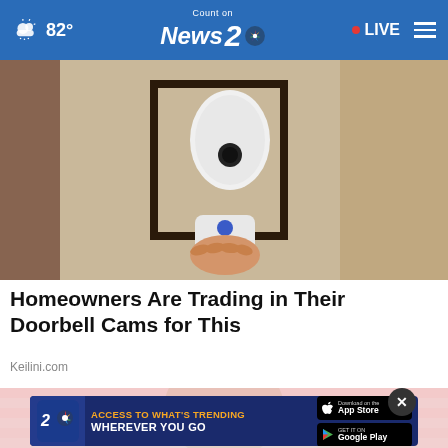82° | Count on News 2 NBC | LIVE
[Figure (photo): A hand holding a small white smart camera/doorbell device mounted on a lantern-style outdoor light fixture against a stucco wall]
Homeowners Are Trading in Their Doorbell Cams for This
Keilini.com
[Figure (photo): Partial view of a person against a pink background with an advertisement banner overlay: ACCESS TO WHAT'S TRENDING WHEREVER YOU GO with App Store and Google Play download buttons]